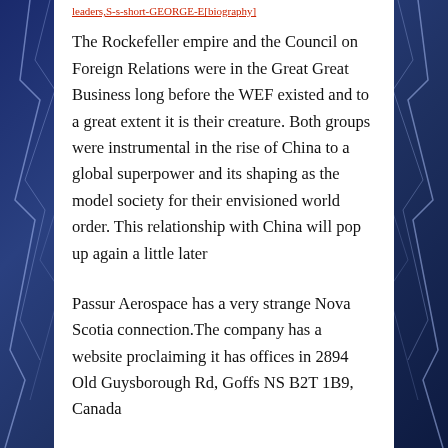leaders,S-s-short-GEORGE-E[biography]
The Rockefeller empire and the Council on Foreign Relations were in the Great Great Business long before the WEF existed and to a great extent it is their creature. Both groups were instrumental in the rise of China to a global superpower and its shaping as the model society for their envisioned world order. This relationship with China will pop up again a little later
Passur Aerospace has a very strange Nova Scotia connection.The company has a website proclaiming it has offices in 2894 Old Guysborough Rd, Goffs NS B2T 1B9, Canada